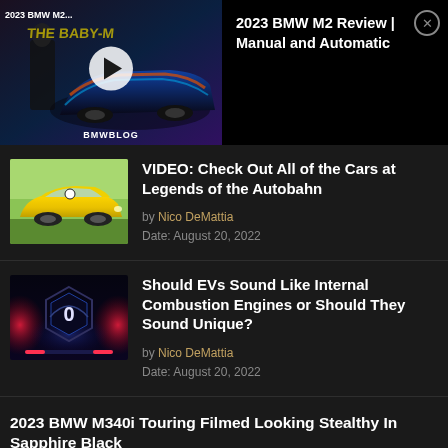[Figure (screenshot): Video thumbnail for 2023 BMW M2 review showing a colorfully wrapped BMW M2 car with a play button overlay and BMWBLOG watermark]
2023 BMW M2 Review | Manual and Automatic
[Figure (photo): Thumbnail of a yellow BMW Z3 M coupe parked on grass]
VIDEO: Check Out All of the Cars at Legends of the Autobahn
by Nico DeMattia
Date: August 20, 2022
[Figure (photo): Thumbnail of BMW EV instrument cluster showing speedometer reading 0 with ambient lighting]
Should EVs Sound Like Internal Combustion Engines or Should They Sound Unique?
by Nico DeMattia
Date: August 20, 2022
2023 BMW M340i Touring Filmed Looking Stealthy In Sapphire Black